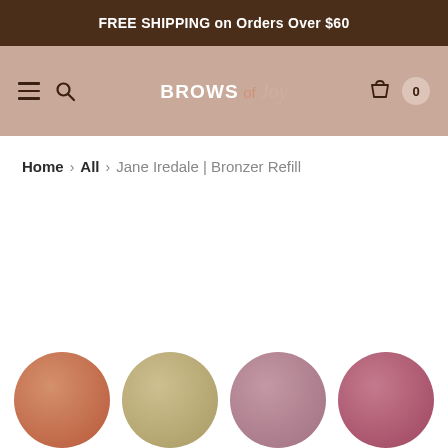FREE SHIPPING on Orders Over $60
[Figure (screenshot): Navigation bar with hamburger menu, search icon, Brows of Joy logo, shopping bag icon and cart count 0]
Home > All > Jane Iredale | Bronzer Refill
[Figure (photo): Four circular bronzer refill pans partially visible at the bottom of the page: terracotta/peach, nude/beige, dusty rose/mauve, and deep rose/berry colors]